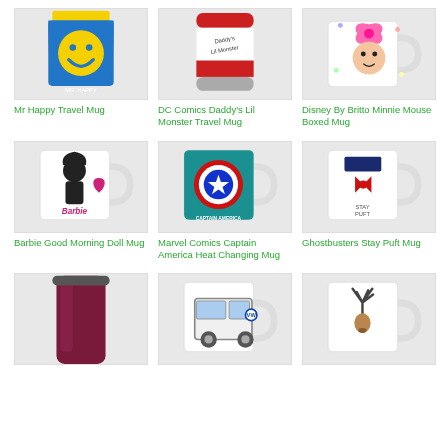[Figure (photo): Mr Happy Travel Mug - blue cup with yellow lid and smiley face]
Mr Happy Travel Mug
[Figure (photo): DC Comics Daddy's Lil Monster Travel Mug - red and white travel mug]
DC Comics Daddy's Lil Monster Travel Mug
[Figure (photo): Disney By Britto Minnie Mouse Boxed Mug - white mug with Minnie Mouse]
Disney By Britto Minnie Mouse Boxed Mug
[Figure (photo): Barbie Good Morning Doll Mug - white mug with Barbie silhouette]
Barbie Good Morning Doll Mug
[Figure (photo): Marvel Comics Captain America Heat Changing Mug]
Marvel Comics Captain America Heat Changing Mug
[Figure (photo): Ghostbusters Stay Puft Mug - white mug with Stay Puft marshmallow man]
Ghostbusters Stay Puft Mug
[Figure (photo): Travel mug - dark red/purple]
[Figure (photo): VW Camper van mug]
[Figure (photo): Stag/deer antler mug]